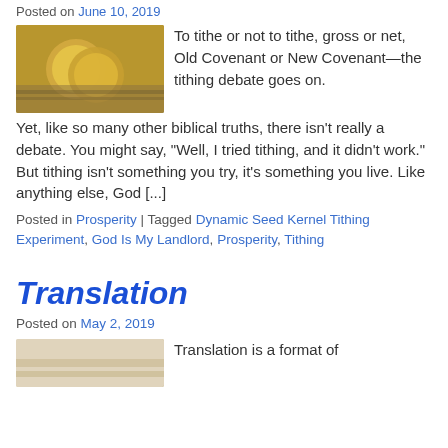Posted on June 10, 2019
To tithe or not to tithe, gross or net, Old Covenant or New Covenant—the tithing debate goes on. Yet, like so many other biblical truths, there isn't really a debate. You might say, "Well, I tried tithing, and it didn't work." But tithing isn't something you try, it's something you live. Like anything else, God [...]
[Figure (photo): Gold coins stacked on paper currency (money/tithing concept image)]
Posted in Prosperity | Tagged Dynamic Seed Kernel Tithing Experiment, God Is My Landlord, Prosperity, Tithing
Translation
Posted on May 2, 2019
[Figure (photo): Partial image related to Translation article]
Translation is a format of